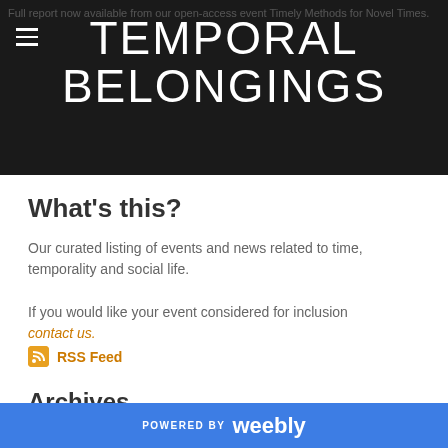Full report now available from our open-access event Timely Methods for Novel Times.
TEMPORAL BELONGINGS
What's this?
Our curated listing of events and news related to time, temporality and social life.
If you would like your event considered for inclusion contact us.
RSS Feed
Archives
POWERED BY weebly